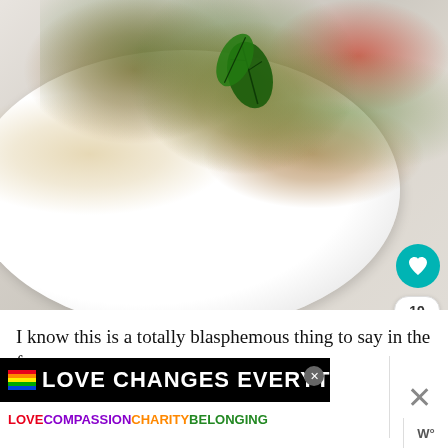[Figure (photo): Close-up food photo of shrimp and vegetables with pesto sauce and fresh basil leaves on a white plate, on a marble surface]
I know this is a totally blasphemous thing to say in the fo
[Figure (screenshot): Advertisement banner reading 'LOVE CHANGES EVERYTHING' with rainbow icon and subtext 'LOVE COMPASSION CHARITY BELONGING' on black background]